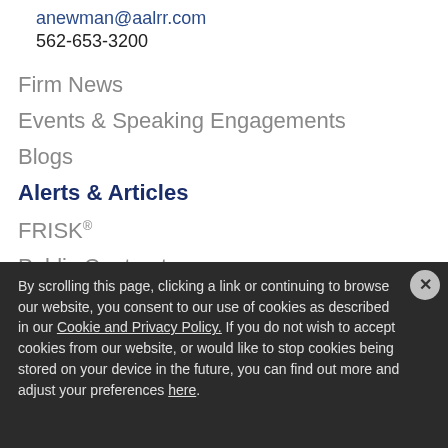anewman@aalrr.com
562-653-3200
Firm News
Events & Speaking Engagements
Blogs
Alerts & Articles
FRISK®
Public Contracts
Sign Up
Media Contact
Our Firm
Our Story
The AALRR Difference
By scrolling this page, clicking a link or continuing to browse our website, you consent to our use of cookies as described in our Cookie and Privacy Policy. If you do not wish to accept cookies from our website, or would like to stop cookies being stored on your device in the future, you can find out more and adjust your preferences here.